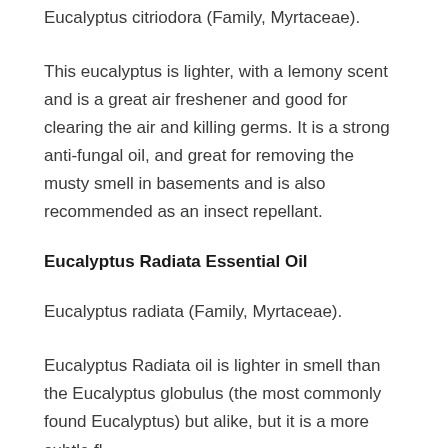Eucalyptus citriodora (Family, Myrtaceae).
This eucalyptus is lighter, with a lemony scent and is a great air freshener and good for clearing the air and killing germs. It is a strong anti-fungal oil, and great for removing the musty smell in basements and is also recommended as an insect repellant.
Eucalyptus Radiata Essential Oil
Eucalyptus radiata (Family, Myrtaceae).
Eucalyptus Radiata oil is lighter in smell than the Eucalyptus globulus (the most commonly found Eucalyptus) but alike, but it is a more subtle fl...